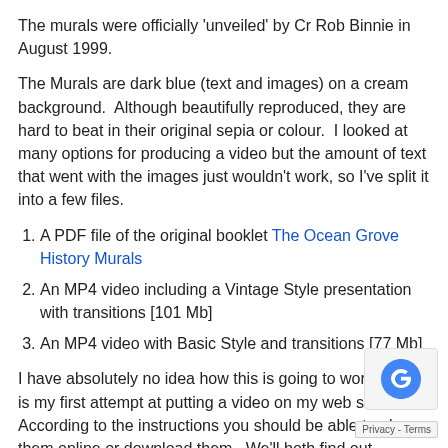The murals were officially 'unveiled' by Cr Rob Binnie in August 1999.
The Murals are dark blue (text and images) on a cream background.  Although beautifully reproduced, they are hard to beat in their original sepia or colour.  I looked at many options for producing a video but the amount of text that went with the images just wouldn't work, so I've split it into a few files.
1. A PDF file of the original booklet The Ocean Grove History Murals
2. An MP4 video including a Vintage Style presentation with transitions [101 Mb]
3. An MP4 video with Basic Style and transitions [77 Mb]
I have absolutely no idea how this is going to work – this is my first attempt at putting a video on my web site.  According to the instructions you should be able to play them online or download them.  We'll both find out together!
The Vintage Style video – The Ocean Grove History Murals [larger file and nicer background] [wpvideo